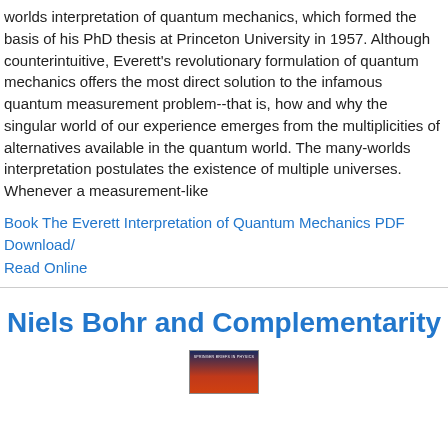worlds interpretation of quantum mechanics, which formed the basis of his PhD thesis at Princeton University in 1957. Although counterintuitive, Everett's revolutionary formulation of quantum mechanics offers the most direct solution to the infamous quantum measurement problem--that is, how and why the singular world of our experience emerges from the multiplicities of alternatives available in the quantum world. The many-worlds interpretation postulates the existence of multiple universes. Whenever a measurement-like
Book The Everett Interpretation of Quantum Mechanics PDF Download/ Read Online
Niels Bohr and Complementarity
[Figure (photo): Book cover of 'Niels Bohr and Complementarity' showing a dark blue top section with 'Springer Briefs in Physics' text and a red/orange lower section]